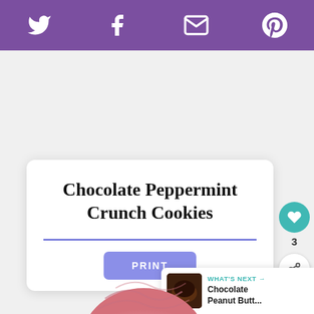Social share bar with Twitter, Facebook, Email, Pinterest icons
Chocolate Peppermint Crunch Cookies
[Figure (screenshot): PRINT button (purple/blue rounded rectangle)]
[Figure (illustration): Heart/like button (teal circle), count 3, and share icon button]
[Figure (photo): What's Next panel: thumbnail of chocolate item, label 'WHAT'S NEXT →', title 'Chocolate Peanut Butt...']
[Figure (photo): Partial cookie image visible at bottom of page, pink/swirled top]